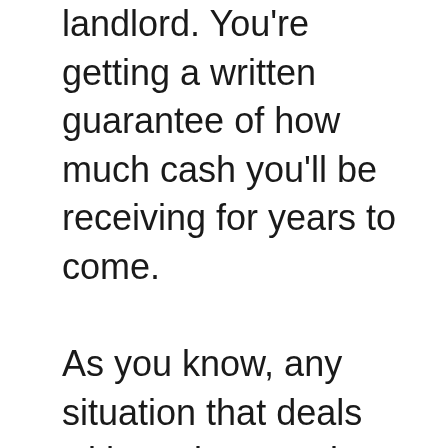landlord. You're getting a written guarantee of how much cash you'll be receiving for years to come.

As you know, any situation that deals with tax law requires proper documentation. So, be sure to keep a file with all the necessary information.